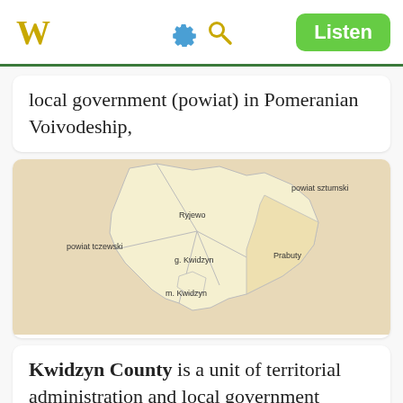W | [settings] [search] | Listen
local government (powiat) in Pomeranian Voivodeship,
[Figure (map): Map of Kwidzyn County showing subdivisions including Ryjewo, g. Kwidzyn, m. Kwidzyn, Prabuty, and neighboring counties powiat sztumski, powiat tczewski]
Kwidzyn County is a unit of territorial administration and local government (powiat) in Pomeranian Voivodeship,
[Figure (map): Partial map showing powiat bytowski and powiat koscierski]